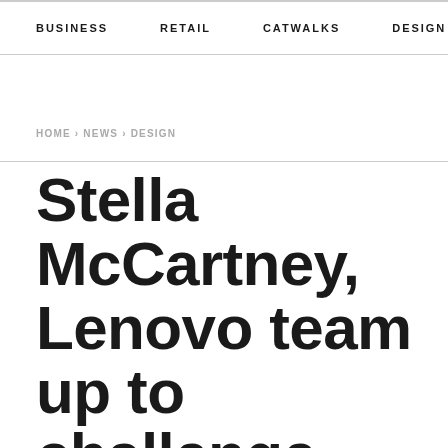BUSINESS   RETAIL   CATWALKS   DESIGN   CAMI >
HOME › NEWS › DESIGN
Stella McCartney, Lenovo team up to challenge fashion students with tech